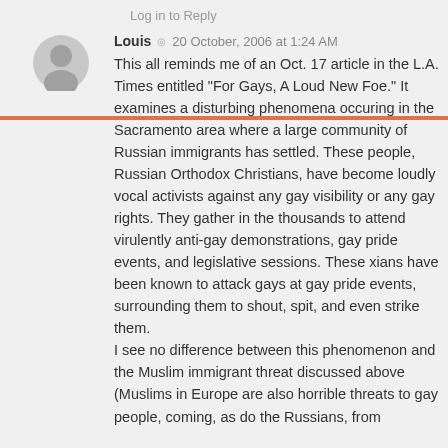Log in to Reply
Louis · 20 October, 2006 at 1:24 AM
This all reminds me of an Oct. 17 article in the L.A. Times entitled "For Gays, A Loud New Foe." It examines a disturbing phenomena occuring in the Sacramento area where a large community of Russian immigrants has settled. These people, Russian Orthodox Christians, have become loudly vocal activists against any gay visibility or any gay rights. They gather in the thousands to attend virulently anti-gay demonstrations, gay pride events, and legislative sessions. These xians have been known to attack gays at gay pride events, surrounding them to shout, spit, and even strike them.
I see no difference between this phenomenon and the Muslim immigrant threat discussed above (Muslims in Europe are also horrible threats to gay people, coming, as do the Russians, from